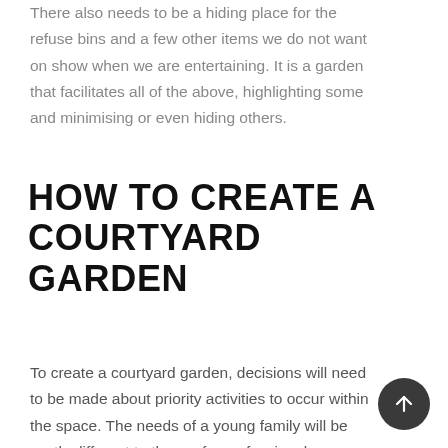There also needs to be a hiding place for the refuse bins and a few other items we do not want on show when we are entertaining. It is a garden that facilitates all of the above, highlighting some and minimising or even hiding others.
HOW TO CREATE A COURTYARD GARDEN
To create a courtyard garden, decisions will need to be made about priority activities to occur within the space. The needs of a young family will be vastly different to those of a professional